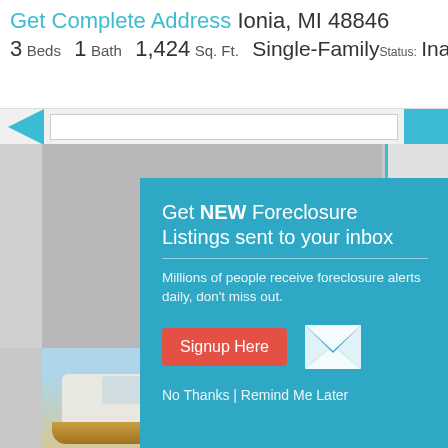Get Complete Address Ionia, MI 48846
3 Beds   1 Bath   1,424 Sq. Ft.   Single-Family  Status: Inactiv…
[Figure (screenshot): Navigation bar with arrow icon, search input, and blue button]
[Figure (screenshot): Property listing image placeholder (gray boxes)]
Get NEW Foreclosure Listings sent to your inbox
Millions of people receive foreclosure alerts daily, don't miss out.
Signup Here
No Thanks | Remind Me Later
[Figure (photo): Boat on trailer with sky background at bottom of page]